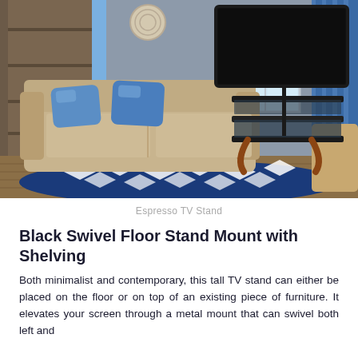[Figure (photo): Living room scene showing a beige sofa with blue throw pillows, a large TV mounted on a black swivel floor stand with wooden curved legs and glass shelves, a blue and white geometric patterned rug on hardwood floor, brown bookcase in background, blue curtains, and a window.]
Espresso TV Stand
Black Swivel Floor Stand Mount with Shelving
Both minimalist and contemporary, this tall TV stand can either be placed on the floor or on top of an existing piece of furniture. It elevates your screen through a metal mount that can swivel both left and